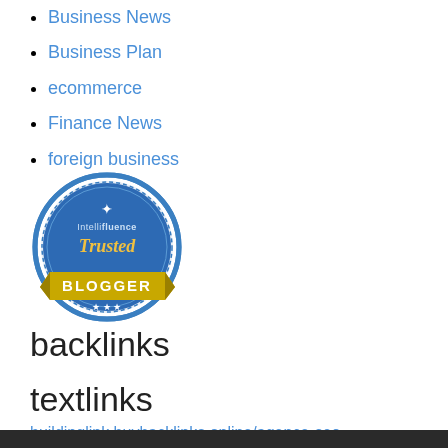Business News
Business Plan
ecommerce
Finance News
foreign business
[Figure (logo): Intellifluence Trusted Blogger badge — circular blue badge with gold ribbon and 'BLOGGER' text]
backlinks
textlinks
buildinglink.buybacklinks.online/agence-seo